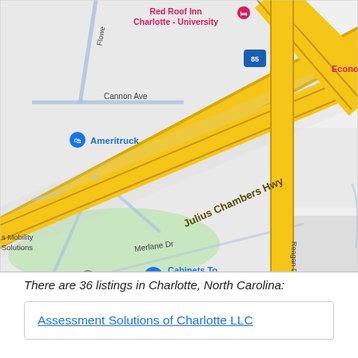[Figure (map): Google Maps view of Charlotte, NC area near Julius Chambers Hwy and I-85, showing landmarks: Red Roof Inn Charlotte-University, Ameritruck, Cabinets To Go Charlotte, s Mobility Solutions, McDonald's, Octapharma Plasma, Wendy's, Evoke Living at Sugar Creek Apartments, Merlane Dr, Wilson Ln, Reagan Dr, Cannon Ave, Econo (partially visible)]
There are 36 listings in Charlotte, North Carolina:
Assessment Solutions of Charlotte LLC